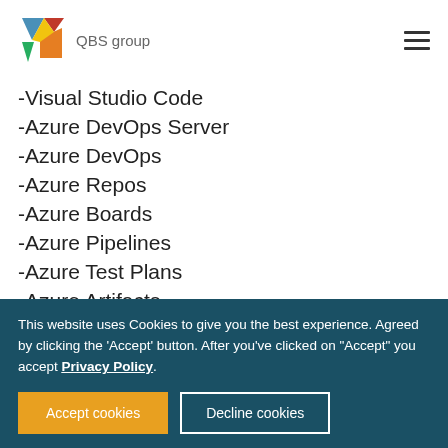QBS group
-Visual Studio Code
-Azure DevOps Server
-Azure DevOps
-Azure Repos
-Azure Boards
-Azure Pipelines
-Azure Test Plans
-Azure Artifacts
-Github
-Work Items, Queries, Dashboards
-Linking
-Working with Sprints
This website uses Cookies to give you the best experience. Agreed by clicking the 'Accept' button. After you've clicked on "Accept" you accept Privacy Policy.